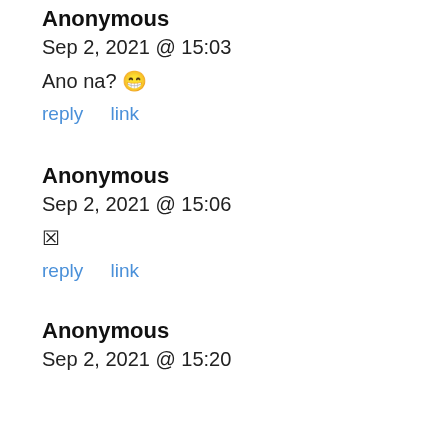Anonymous
Sep 2, 2021 @ 15:03
Ano na? 😁
reply   link
Anonymous
Sep 2, 2021 @ 15:06
🔲
reply   link
Anonymous
Sep 2, 2021 @ 15:20